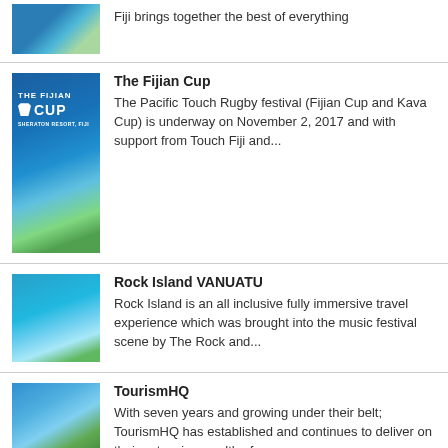[Figure (photo): Thumbnail photo of a tropical Fiji beach/ocean scene]
Fiji brings together the best of everything
[Figure (photo): The Fijian Cup promotional image with resort beach backdrop]
The Fijian Cup
The Pacific Touch Rugby festival (Fijian Cup and Kava Cup) is underway on November 2, 2017 and with support from Touch Fiji and...
[Figure (photo): Rock Island Vanuatu aerial ocean/reef photo]
Rock Island VANUATU
Rock Island is an all inclusive fully immersive travel experience which was brought into the music festival scene by The Rock and...
[Figure (photo): TourismHQ tropical resort pool photo]
TourismHQ
With seven years and growing under their belt; TourismHQ has established and continues to deliver on their extensive wealth of...
SPRING BREAK FIJI